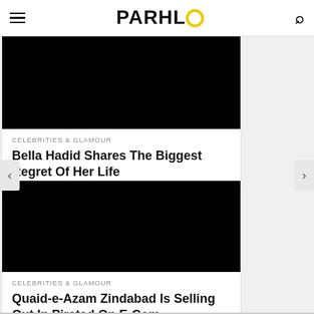PARHLO
[Figure (photo): Black image placeholder for article about Bella Hadid]
CELEBRITIES & GLAMOUR
Bella Hadid Shares The Biggest Regret Of Her Life
[Figure (photo): Black image placeholder for article about Quaid-e-Azam Zindabad]
CELEBRITIES & GLAMOUR
Quaid-e-Azam Zindabad Is Selling Out In Pirated On E-Com